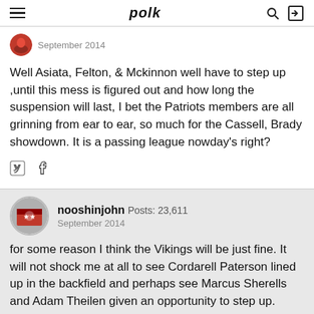polk
September 2014
Well Asiata, Felton, & Mckinnon well have to step up ,until this mess is figured out and how long the suspension will last, I bet the Patriots members are all grinning from ear to ear, so much for the Cassell, Brady showdown. It is a passing league nowday's right?
nooshinjohn  Posts: 23,611
September 2014
for some reason I think the Vikings will be just fine. It will not shock me at all to see Cordarell Paterson lined up in the backfield and perhaps see Marcus Sherells and Adam Theilen given an opportunity to step up.